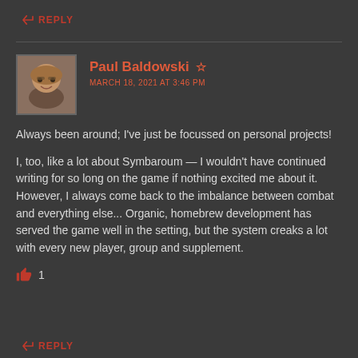↩ REPLY
Paul Baldowski ☆
MARCH 18, 2021 AT 3:46 PM
Always been around; I've just be focussed on personal projects!
I, too, like a lot about Symbaroum — I wouldn't have continued writing for so long on the game if nothing excited me about it. However, I always come back to the imbalance between combat and everything else... Organic, homebrew development has served the game well in the setting, but the system creaks a lot with every new player, group and supplement.
👍 1
↩ REPLY